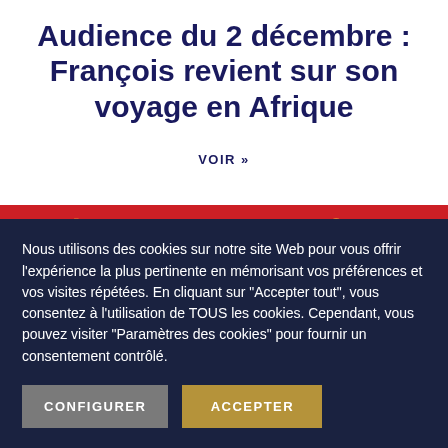Audience du 2 décembre : François revient sur son voyage en Afrique
VOIR »
[Figure (other): Red banner strip with decorative icons and partial text 'Abonnement découverte']
Nous utilisons des cookies sur notre site Web pour vous offrir l'expérience la plus pertinente en mémorisant vos préférences et vos visites répétées. En cliquant sur "Accepter tout", vous consentez à l'utilisation de TOUS les cookies. Cependant, vous pouvez visiter "Paramètres des cookies" pour fournir un consentement contrôlé.
CONFIGURER
ACCEPTER